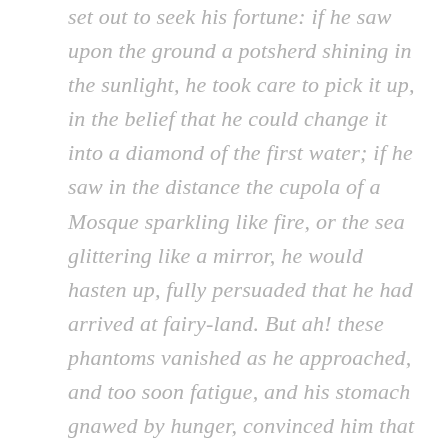set out to seek his fortune: if he saw upon the ground a potsherd shining in the sunlight, he took care to pick it up, in the belief that he could change it into a diamond of the first water; if he saw in the distance the cupola of a Mosque sparkling like fire, or the sea glittering like a mirror, he would hasten up, fully persuaded that he had arrived at fairy-land. But ah! these phantoms vanished as he approached, and too soon fatigue, and his stomach gnawed by hunger, convinced him that he was still in the land of mortals.